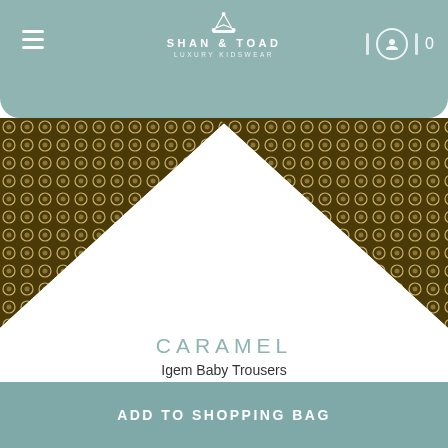SHAN & TOAD LUXURY KIDSWEAR
[Figure (photo): Product image showing two triangular fabric swatches of dark olive/brown patterned fabric (geometric circle dot print) on white background, partially visible from left and right edges]
CARAMEL
Igem Baby Trousers
$103.00  $30.90  70% OFF ( $72.10 )
Trustpilot
ADD TO SHOPPING BAG